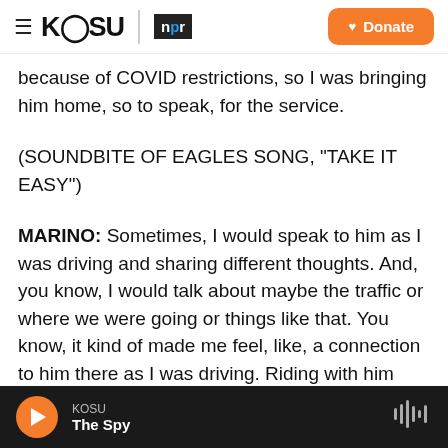KOSU | npr  Donate
because of COVID restrictions, so I was bringing him home, so to speak, for the service.
(SOUNDBITE OF EAGLES SONG, "TAKE IT EASY")
MARINO: Sometimes, I would speak to him as I was driving and sharing different thoughts. And, you know, I would talk about maybe the traffic or where we were going or things like that. You know, it kind of made me feel, like, a connection to him there as I was driving. Riding with him through the whole trip, it felt like closure. I revisited a lot of the places that we had seen together, and then I saw a
KOSU  The Spy